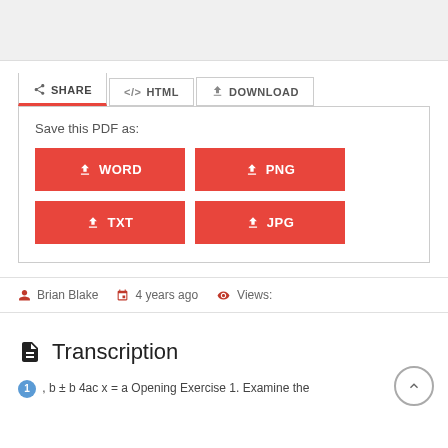[Figure (screenshot): Gray banner area at top of page (document preview area)]
SHARE | </> HTML | DOWNLOAD — tab bar
Save this PDF as:
WORD | PNG | TXT | JPG — download buttons
Brian Blake  4 years ago  Views:
Transcription
1 , b ± b 4ac x = a Opening Exercise 1. Examine the